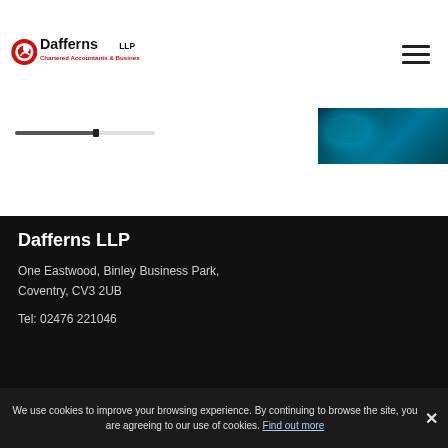[Figure (logo): Dafferns LLP Chartered Accountants & Business Advisers logo with red circular icon]
[Figure (photo): Dark teal aerial/abstract image thumbnail on upper right of header area]
Dafferns LLP
One Eastwood, Binley Business Park,
Coventry, CV3 2UB
Tel: 02476 221046
We use cookies to improve your browsing experience. By continuing to browse the site, you are agreeing to our use of cookies. Find out more